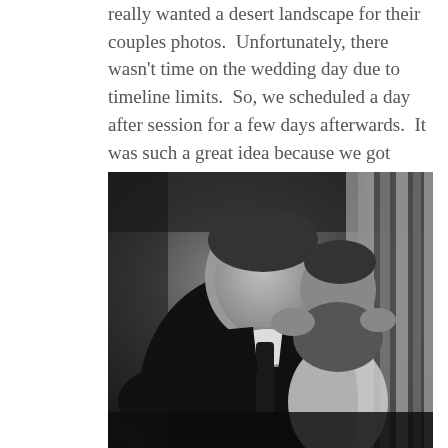really wanted a desert landscape for their couples photos.  Unfortunately, there wasn't time on the wedding day due to timeline limits.  So, we scheduled a day after session for a few days afterwards.  It was such a great idea because we got some amazing shots on both days.
[Figure (photo): Black and white wedding photo showing a man in a dark suit and tie being helped by another person standing behind him, likely adjusting his jacket or suit. Striped curtains are visible in the background on the right side. The image has a moody, dramatic black and white treatment.]